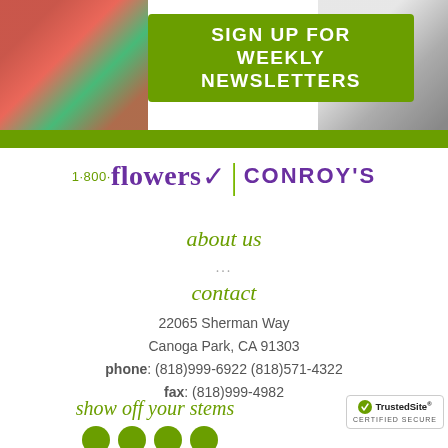[Figure (illustration): Banner with flowers on left, laptop on right, green box in center with text 'SIGN UP FOR WEEKLY NEWSLETTERS']
SIGN UP FOR WEEKLY NEWSLETTERS
[Figure (logo): 1-800-flowers | CONROY'S logo]
about us
...
contact
22065 Sherman Way
Canoga Park, CA 91303
phone: (818)999-6922 (818)571-4322
fax: (818)999-4982
show off your stems
[Figure (logo): TrustedSite Certified Secure badge]